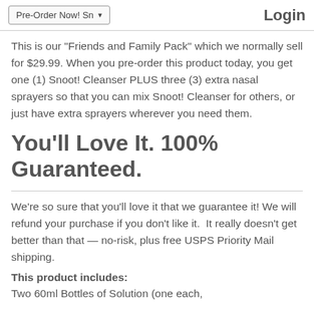Pre-Order Now! Sn... | Login
This is our "Friends and Family Pack" which we normally sell for $29.99. When you pre-order this product today, you get one (1) Snoot! Cleanser PLUS three (3) extra nasal sprayers so that you can mix Snoot! Cleanser for others, or just have extra sprayers wherever you need them.
You'll Love It. 100% Guaranteed.
We're so sure that you'll love it that we guarantee it! We will refund your purchase if you don't like it.  It really doesn't get better than that — no-risk, plus free USPS Priority Mail shipping.
This product includes: Two 60ml Bottles of Solution (one each,